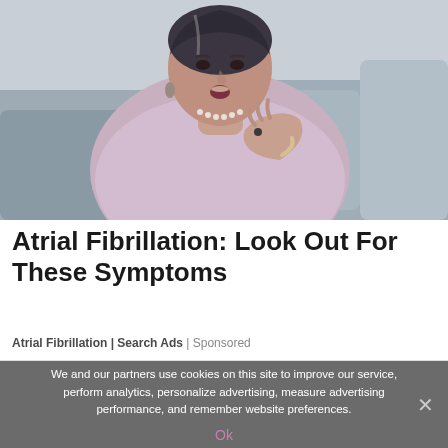[Figure (photo): A middle-aged woman in a light purple top sitting on a gray couch, holding her hand to her chest as if experiencing chest pain or discomfort. She has dark hair with gray streaks and is wearing a pearl necklace and bracelet. The background shows gray couch pillows and a light blue-gray wall.]
Atrial Fibrillation: Look Out For These Symptoms
Atrial Fibrillation | Search Ads | Sponsored
We and our partners use cookies on this site to improve our service, perform analytics, personalize advertising, measure advertising performance, and remember website preferences.
Ok